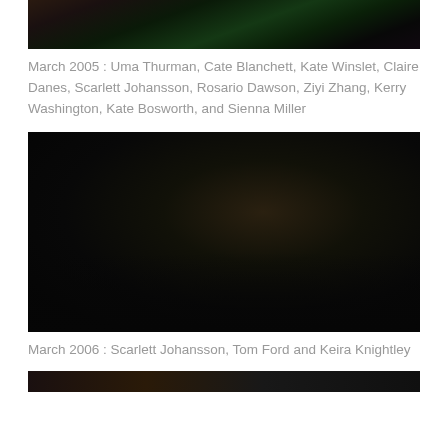[Figure (photo): Fashion/celebrity photo shoot from March 2005 Vanity Fair Hollywood issue showing multiple actresses in formal attire with a green gown prominent]
March 2005 : Uma Thurman, Cate Blanchett, Kate Winslet, Claire Danes, Scarlett Johansson, Rosario Dawson, Ziyi Zhang, Kerry Washington, Kate Bosworth, and Sienna Miller
[Figure (photo): Fashion/celebrity photo shoot from March 2006 Vanity Fair Hollywood issue showing Scarlett Johansson, Tom Ford and Keira Knightley in a dramatic dark-toned artistic pose]
March 2006 : Scarlett Johansson, Tom Ford and Keira Knightley
[Figure (photo): Partial view of another Vanity Fair Hollywood issue photo shoot at the bottom of the page]